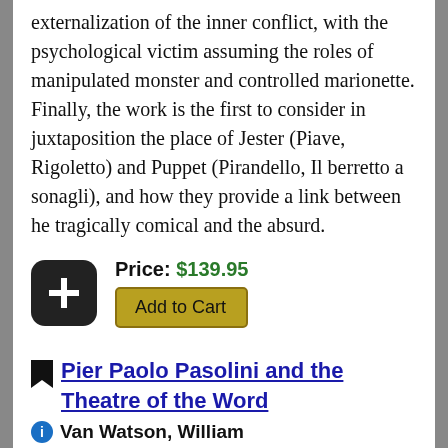externalization of the inner conflict, with the psychological victim assuming the roles of manipulated monster and controlled marionette. Finally, the work is the first to consider in juxtaposition the place of Jester (Piave, Rigoletto) and Puppet (Pirandello, Il berretto a sonagli), and how they provide a link between he tragically comical and the absurd.
Price: $139.95 | Add to Cart
Pier Paolo Pasolini and the Theatre of the Word
Van Watson, William
1989 ^ 0-7734-2002-9 ^ 150 pages
This study examines, from a variety of critical perspectives, Pasolini's complex